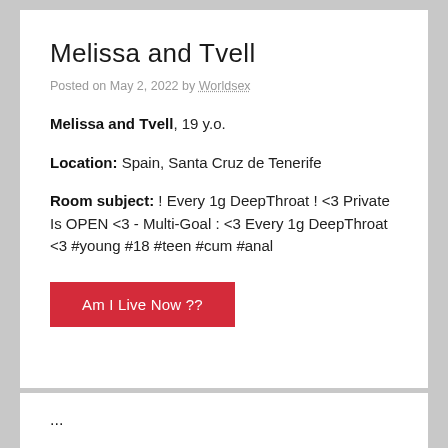Melissa and Tvell
Posted on May 2, 2022 by Worldsex
Melissa and Tvell, 19 y.o.
Location: Spain, Santa Cruz de Tenerife
Room subject: ! Every 1g DeepThroat ! <3 Private Is OPEN <3 - Multi-Goal : <3 Every 1g DeepThroat <3 #young #18 #teen #cum #anal
Am I Live Now ??
...